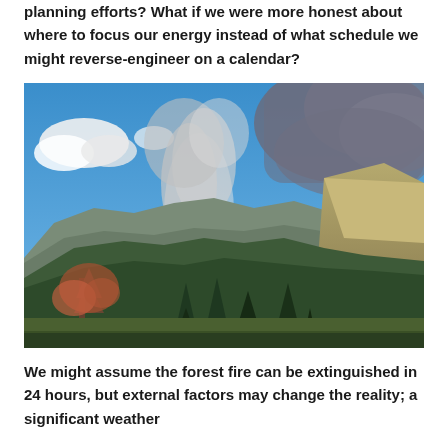planning efforts? What if we were more honest about where to focus our energy instead of what schedule we might reverse-engineer on a calendar?
[Figure (photo): A mountain landscape scene with conifer forests, ridgelines, a winding road, and a large smoke plume rising above the mountains into a blue sky, indicating a wildfire burning beyond the ridgeline.]
We might assume the forest fire can be extinguished in 24 hours, but external factors may change the reality; a significant weather